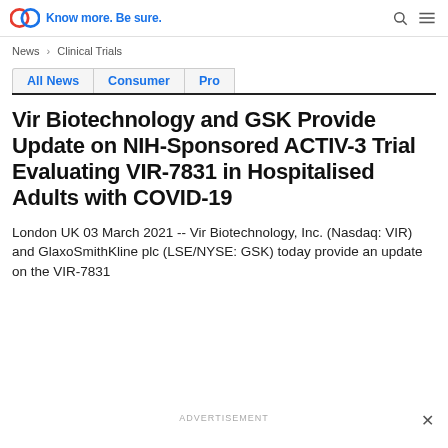Know more. Be sure.
News › Clinical Trials
All News   Consumer   Pro
Vir Biotechnology and GSK Provide Update on NIH-Sponsored ACTIV-3 Trial Evaluating VIR-7831 in Hospitalised Adults with COVID-19
London UK 03 March 2021 -- Vir Biotechnology, Inc. (Nasdaq: VIR) and GlaxoSmithKline plc (LSE/NYSE: GSK) today provide an update on the VIR-7831
ADVERTISEMENT